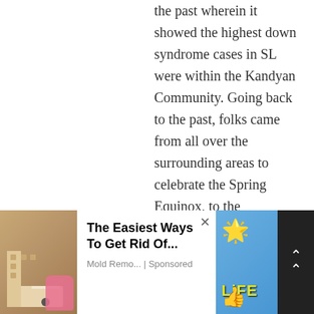the past wherein it showed the highest down syndrome cases in SL were within the Kandyan Community. Going back to the past, folks came from all over the surrounding areas to celebrate the Spring Equinox, to the Stonehenges around the world,so their young also met other young, fall in love and settle down. They can teach us … I guess.
[Figure (photo): Advertisement overlay showing a bathroom cleaning image on the left, an ad for 'The Easiest Ways To Get Rid Of...' by Mold Remo... (Sponsored) in the center, and a colorful emoji/lifestyle image on the right. A dark scroll-up button is on the far right.]